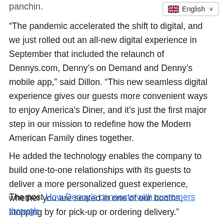panchin.
[Figure (screenshot): English language selector dropdown with UK flag icon]
“The pandemic accelerated the shift to digital, and we just rolled out an all-new digital experience in September that included the relaunch of Dennys.com, Denny’s on Demand and Denny’s mobile app,” said Dillon. “This new seamless digital experience gives our guests more convenient ways to enjoy America’s Diner, and it’s just the first major step in our mission to redefine how the Modern American Family dines together.
He added the technology enables the company to build one-to-one relationships with its guests to deliver a more personalized guest experience, whether you are seated in one of our booths, stopping by for pick-up or ordering delivery.
[Figure (screenshot): Chat popup overlay with avatar of woman wearing headset, Windows logo, welcome message 'Welcome to az-emarketing.com!', 'Welcome to Our Store', close button X, send button with paper plane icon, counter badge showing 0]
The post How Denny’s connects with customers through